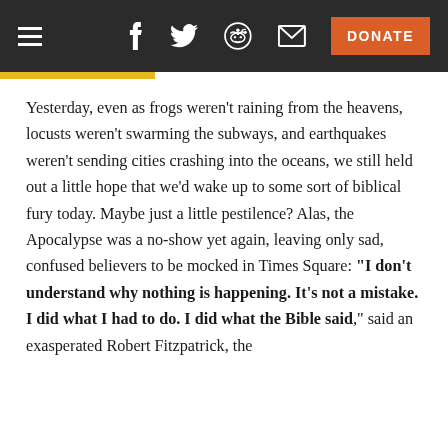DONATE
Yesterday, even as frogs weren't raining from the heavens, locusts weren't swarming the subways, and earthquakes weren't sending cities crashing into the oceans, we still held out a little hope that we'd wake up to some sort of biblical fury today. Maybe just a little pestilence? Alas, the Apocalypse was a no-show yet again, leaving only sad, confused believers to be mocked in Times Square: "I don't understand why nothing is happening. It's not a mistake. I did what I had to do. I did what the Bible said," said an exasperated Robert Fitzpatrick, the